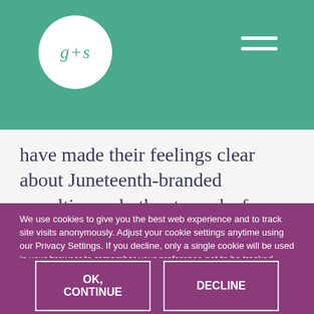[Figure (logo): g+s logo in a white circle on teal background, with hamburger menu icon on the right]
have made their feelings clear about Juneteenth-branded novelties and other tone-deaf consumer items – “We didn’t ask for this.” While some products may be less offensive than others and ultimately better received, the damage is still felt in many
We use cookies to give you the best web experience and to track site visits anonymously. Adjust your cookie settings anytime using our Privacy Settings. If you decline, only a single cookie will be used in your browser to remember your preference not to be tracked.
OK, CONTINUE
DECLINE